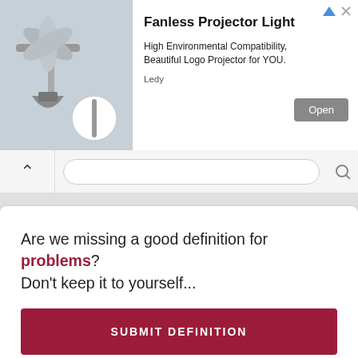[Figure (photo): Advertisement banner for Fanless Projector Light by Ledy, showing product image on left and text/button on right]
Fanless Projector Light
High Environmental Compatibility, Beautiful Logo Projector for YOU.
Ledy
Open
Are we missing a good definition for problems? Don't keep it to yourself...
SUBMIT DEFINITION